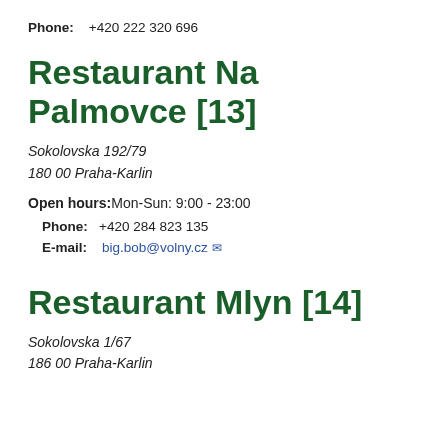Phone:   +420 222 320 696
Restaurant Na Palmovce [13]
Sokolovska 192/79
180 00 Praha-Karlin
Open hours:Mon-Sun: 9:00 - 23:00
Phone:   +420 284 823 135
E-mail:   big.bob@volny.cz
Restaurant Mlyn [14]
Sokolovska 1/67
186 00 Praha-Karlin